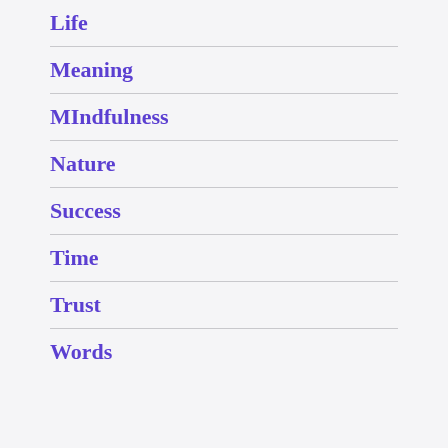Life
Meaning
MIndfulness
Nature
Success
Time
Trust
Words